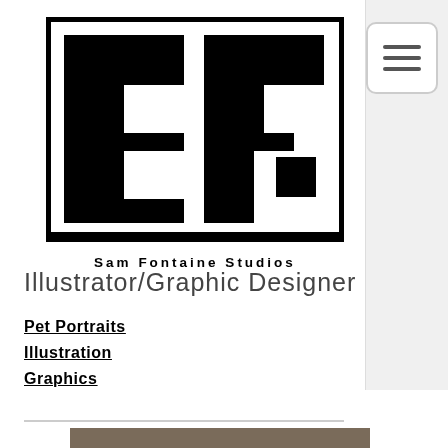[Figure (logo): SF logo mark — black geometric initials S and F in a black-bordered rectangle, styled as pixel/block art]
Sam Fontaine Studios
Illustrator/Graphic Designer
Pet Portraits
Illustration
Graphics